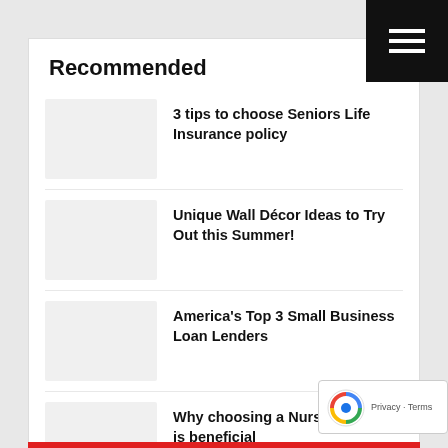Recommended
3 tips to choose Seniors Life Insurance policy
Unique Wall Décor Ideas to Try Out this Summer!
America's Top 3 Small Business Loan Lenders
Why choosing a Nursing Degree is beneficial
Tips to Choose your Home Appliance Wisely